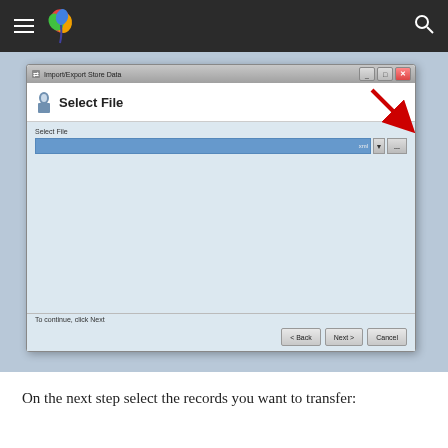[Figure (screenshot): Website navigation bar with hamburger menu, colorful bird/leaf logo, and search icon on dark background, followed by a Windows-style dialog box titled 'Import/Export Store Data' showing a 'Select File' wizard step with a file path input field, a red arrow pointing to a '...' browse button, and Back/Next/Cancel buttons at the bottom. The dialog sits on a light blue-gray background.]
On the next step select the records you want to transfer: